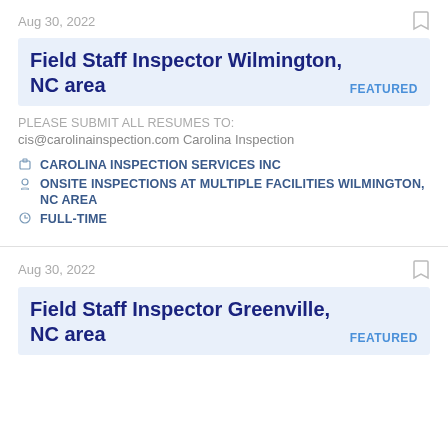Aug 30, 2022
Field Staff Inspector Wilmington, NC area
FEATURED
PLEASE SUBMIT ALL RESUMES TO:
cis@carolinainspection.com Carolina Inspection
CAROLINA INSPECTION SERVICES INC
ONSITE INSPECTIONS AT MULTIPLE FACILITIES WILMINGTON, NC AREA
FULL-TIME
Aug 30, 2022
Field Staff Inspector Greenville, NC area
FEATURED